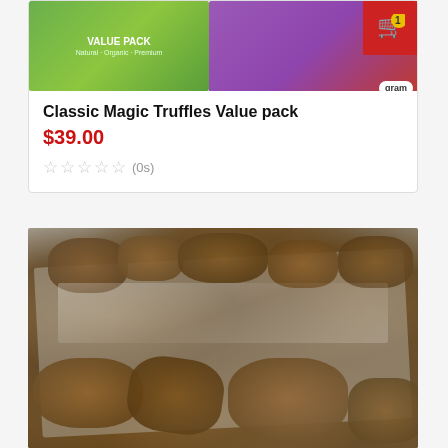[Figure (photo): Product listing card showing colorful supplement/product packaging (green and purple boxes) partially visible at top of card]
Classic Magic Truffles Value pack
$39.00
☆☆☆☆☆ (0s)
[Figure (photo): Close-up photograph of magic truffles in clear vacuum-sealed plastic bags, showing dark brown clustered truffle pieces]